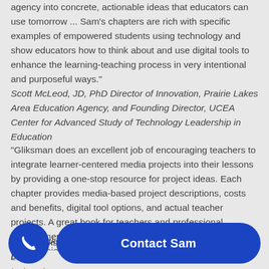agency into concrete, actionable ideas that educators can use tomorrow ... Sam's chapters are rich with specific examples of empowered students using technology and show educators how to think about and use digital tools to enhance the learning-teaching process in very intentional and purposeful ways."
Scott McLeod, JD, PhD Director of Innovation, Prairie Lakes Area Education Agency, and Founding Director, UCEA Center for Advanced Study of Technology Leadership in Education
"Gliksman does an excellent job of encouraging teachers to integrate learner-centered media projects into their lessons by providing a one-stop resource for project ideas. Each chapter provides media-based project descriptions, costs and benefits, digital tool options, and actual teacher projects. A great book for teachers and professional development leaders who are looking for learner-centered digital project ideas."
Doug Wicks, Ed... ...and Learning, ...University